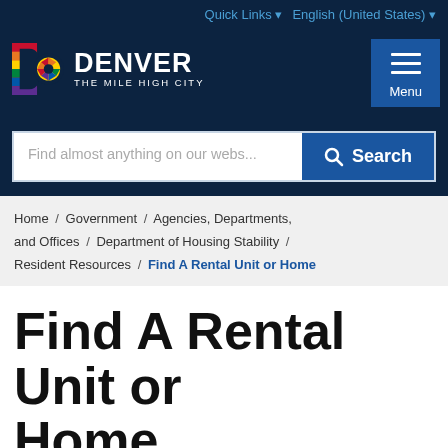Quick Links | English (United States)
[Figure (logo): Denver The Mile High City logo with colorful D icon]
Find almost anything on our webs...
Search
Home / Government / Agencies, Departments, and Offices / Department of Housing Stability / Resident Resources / Find A Rental Unit or Home
Find A Rental Unit or Home